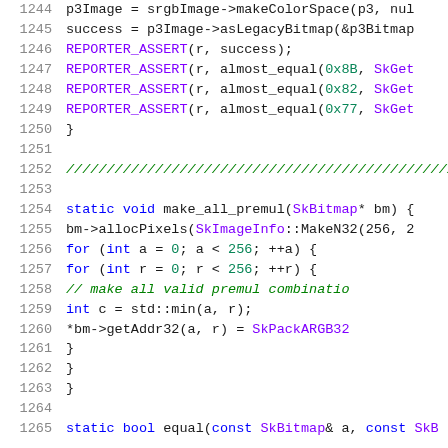Source code listing, lines 1244-1265, C++ code for color space and bitmap operations